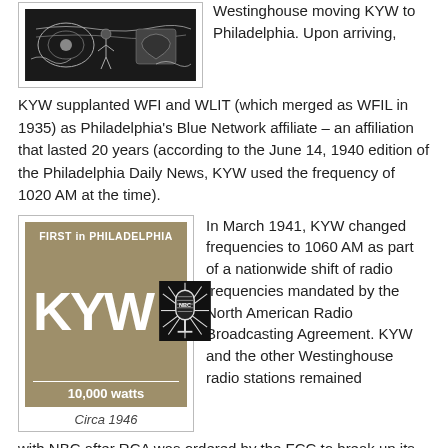[Figure (photo): A historical black-and-white illustration/cartoon image related to KYW radio station]
Westinghouse moving KYW to Philadelphia. Upon arriving, KYW supplanted WFI and WLIT (which merged as WFIL in 1935) as Philadelphia's Blue Network affiliate – an affiliation that lasted 20 years (according to the June 14, 1940 edition of the Philadelphia Daily News, KYW used the frequency of 1020 AM at the time).
[Figure (illustration): KYW radio advertisement circa 1946 showing 'FIRST in PHILADELPHIA KYW 10,000 watts' with NBC microphone logo on tan/khaki background]
Circa 1946
In March 1941, KYW changed frequencies to 1060 AM as part of a nationwide shift of radio frequencies mandated by the North American Radio Broadcasting Agreement. KYW and the other Westinghouse radio stations remained with NBC after RCA was ordered by the FCC to break up its radio networks, aligning with the former Red Network (the